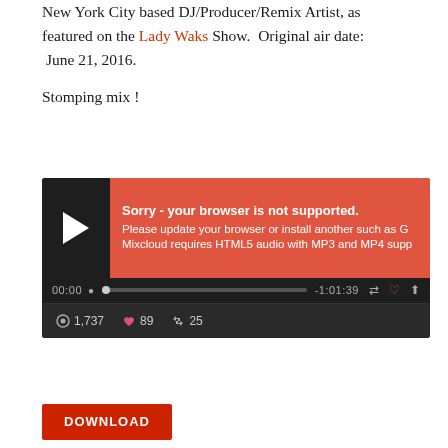New York City based DJ/Producer/Remix Artist, as featured on the Lady Waks Show. Original air date: June 21, 2016.
Stomping mix !
[Figure (screenshot): Mixcloud audio player widget with dark background. Shows a play button on the left, a red error bubble saying 'Sorry - your browser is not supported. Please update your browser or install another such as G... Mixcloud requires HTML5 audio with MP3 and MP4 supp...' Time display shows 00:00 and -1:01:39 with a progress bar. Stats show 1,737 plays, 89 likes, 25 reposts.]
DOWNLOAD